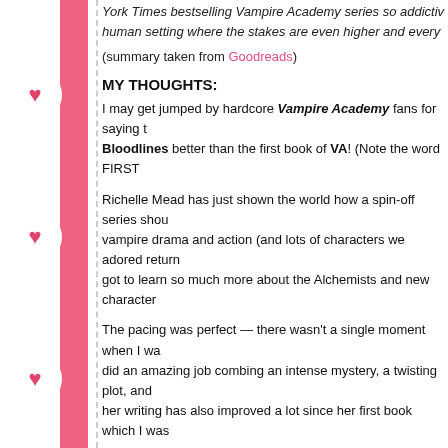York Times bestselling Vampire Academy series so addictive… human setting where the stakes are even higher and every…
(summary taken from Goodreads)
MY THOUGHTS:
I may get jumped by hardcore Vampire Academy fans for saying t… Bloodlines better than the first book of VA! (Note the word FIRST…
Richelle Mead has just shown the world how a spin-off series shou… vampire drama and action (and lots of characters we adored return… got to learn so much more about the Alchemists and new character…
The pacing was perfect — there wasn't a single moment when I wa… did an amazing job combing an intense mystery, a twisting plot, and… her writing has also improved a lot since her first book which I was…
I liked Sydney enough in VA, but I absolutely loved her in Bloodlin… better narrator! She was just so real and easy to connect with, bein… that were incredibly easy to fathom.
And I've always been Team Adrian (♥) so you can bet I was ecstati… The romance wasn't the main focus, but I found that it made it so m…